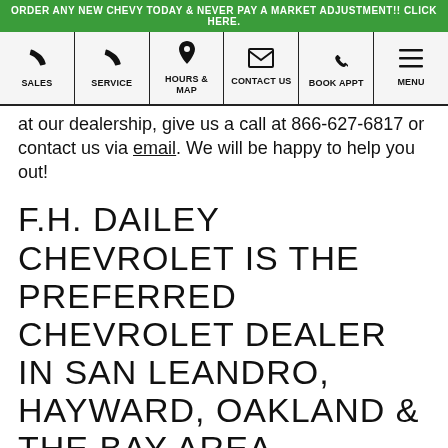ORDER ANY NEW CHEVY TODAY & NEVER PAY A MARKET ADJUSTMENT!! CLICK HERE.
[Figure (other): Navigation bar with icons for SALES, SERVICE, HOURS & MAP, CONTACT US, BOOK APPT, MENU]
at our dealership, give us a call at 866-627-6817 or contact us via email. We will be happy to help you out!
F.H. DAILEY CHEVROLET IS THE PREFERRED CHEVROLET DEALER IN SAN LEANDRO, HAYWARD, OAKLAND & THE BAY AREA
Looking for a used vehicle? Browse our cars, trucks and SUVs for sale at F.H. Dailey Chevrolet. Check out our expansive showroom to find the right fit for you. Our knowledgeable sales staff can also help find your pre-